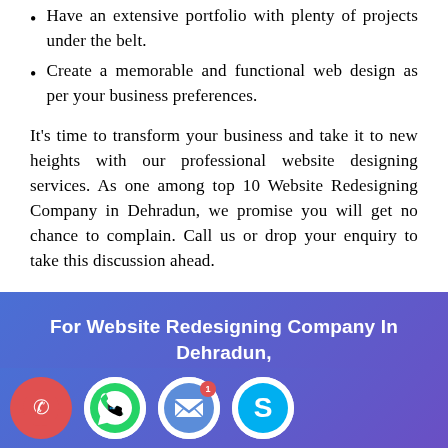Have an extensive portfolio with plenty of projects under the belt.
Create a memorable and functional web design as per your business preferences.
It's time to transform your business and take it to new heights with our professional website designing services. As one among top 10 Website Redesigning Company in Dehradun, we promise you will get no chance to complain. Call us or drop your enquiry to take this discussion ahead.
For Website Redesigning Company In Dehradun, Enquire Now
[Figure (other): Four circular icons at the bottom: phone (red), WhatsApp (green), email (blue/envelope), Skype (blue S logo). Email icon has a red notification badge showing '1'.]